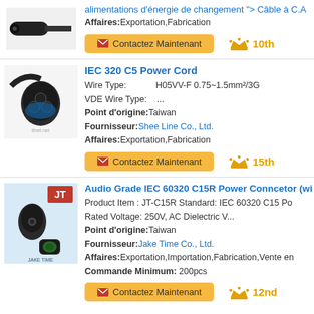alimentations d'énergie de changement "> Câble à C.A
Affaires: Exportation,Fabrication
Contactez Maintenant  10th
IEC 320 C5 Power Cord
Wire Type: H05VV-F 0.75~1.5mm²/3G
VDE Wire Type: ...
Point d'origine: Taiwan
Fournisseur: Shee Line Co., Ltd.
Affaires: Exportation,Fabrication
Contactez Maintenant  15th
Audio Grade IEC 60320 C15R Power Conncetor (wi
Product Item : JT-C15R Standard: IEC 60320 C15 Po
Rated Voltage: 250V, AC Dielectric V...
Point d'origine: Taiwan
Fournisseur: Jake Time Co., Ltd.
Affaires: Exportation,Importation,Fabrication,Vente en
Commande Minimum: 200pcs
Contactez Maintenant  12nd